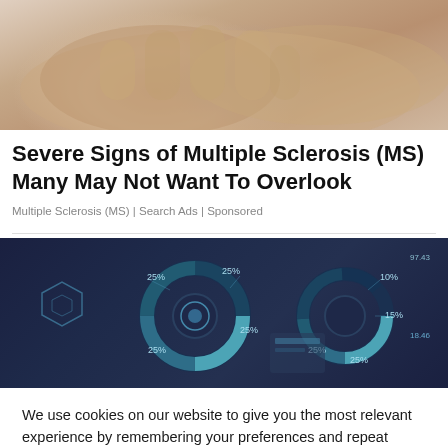[Figure (photo): Close-up photo of elderly hands, skin texture visible, beige/tan tones]
Severe Signs of Multiple Sclerosis (MS) Many May Not Want To Overlook
Multiple Sclerosis (MS) | Search Ads | Sponsored
[Figure (infographic): Dark blue background with donut/pie chart graphics showing percentage labels (25%, 25%, 25%, 25%, 10%, 15%, 25%, 25%) and financial data visualizations, person's hand and arm visible]
We use cookies on our website to give you the most relevant experience by remembering your preferences and repeat visits. By clicking "Accept All", you consent to the use of ALL the cookies. However, you may visit "Cookie Settings" to provide a controlled consent.